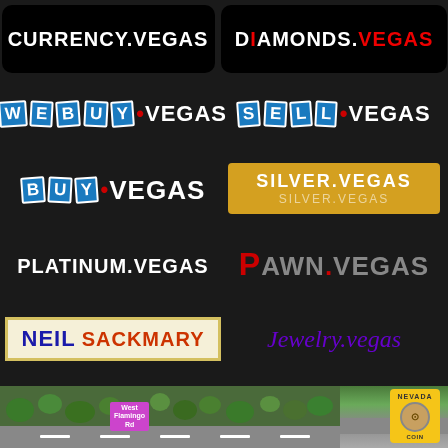[Figure (logo): CURRENCY.VEGAS logo on black rounded rectangle background]
[Figure (logo): DIAMONDS.VEGAS logo on black rounded rectangle with red dot on I]
[Figure (logo): WEBUY.VEGAS logo with blue card tiles and red dot]
[Figure (logo): SELL.VEGAS logo with blue card tiles and red dot]
[Figure (logo): BUY.VEGAS logo with blue card tiles and red dot]
[Figure (logo): SILVER.VEGAS logo on gold/amber background]
[Figure (logo): PLATINUM.VEGAS text logo in white on dark background]
[Figure (logo): PAWN.VEGAS logo with large red P and gray text]
[Figure (logo): NEIL SACKMARY logo in blue and red on cream bordered box]
[Figure (logo): Jewelry.vegas italic purple logo]
[Figure (logo): GOLD.VEGAS text logo in gold/amber color]
[Figure (logo): CURRENCYEXCHANGE.VEGAS text logo in light gray]
[Figure (photo): Aerial photo of West Flamingo area with Nevada Coin badge on right]